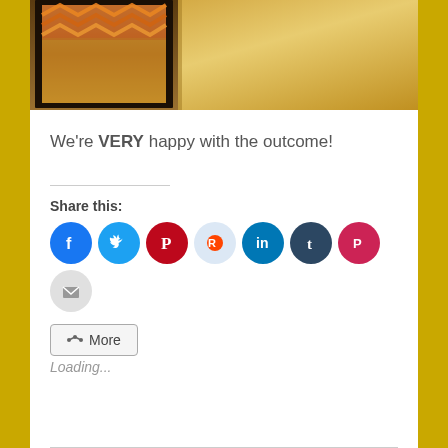[Figure (photo): Partial photo showing a mirror with dark frame reflecting a room with chevron patterned fabric, alongside a beige/golden wall surface.]
We're VERY happy with the outcome!
Share this:
[Figure (infographic): Social sharing icons: Facebook, Twitter, Pinterest, Reddit, LinkedIn, Tumblr, Pocket, Email, and a More button]
Loading...